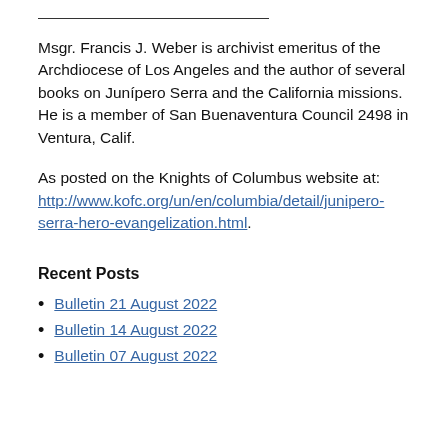Msgr. Francis J. Weber is archivist emeritus of the Archdiocese of Los Angeles and the author of several books on Junípero Serra and the California missions. He is a member of San Buenaventura Council 2498 in Ventura, Calif.
As posted on the Knights of Columbus website at: http://www.kofc.org/un/en/columbia/detail/junipero-serra-hero-evangelization.html.
Recent Posts
Bulletin 21 August 2022
Bulletin 14 August 2022
Bulletin 07 August 2022